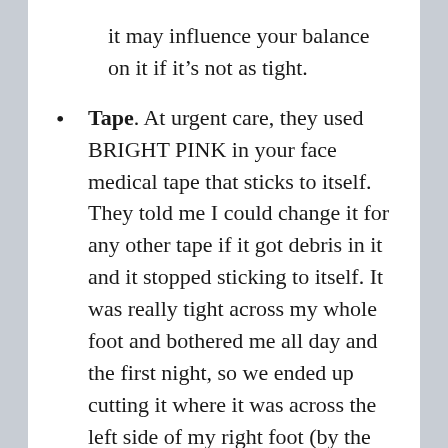it may influence your balance on it if it’s not as tight.
Tape. At urgent care, they used BRIGHT PINK in your face medical tape that sticks to itself. They told me I could change it for any other tape if it got debris in it and it stopped sticking to itself. It was really tight across my whole foot and bothered me all day and the first night, so we ended up cutting it where it was across the left side of my right foot (by the big toe), then using